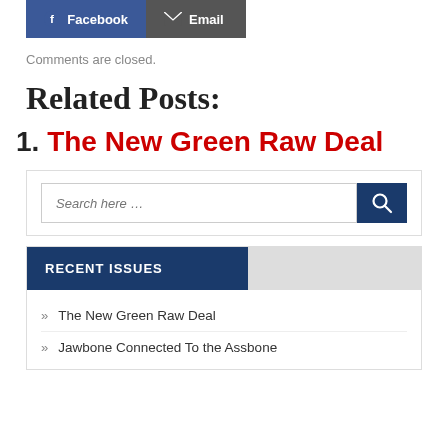[Figure (other): Social share buttons: Facebook (blue) and Email (dark gray)]
Comments are closed.
Related Posts:
1. The New Green Raw Deal
[Figure (other): Search box with input field placeholder 'Search here ...' and a dark blue search button with magnifying glass icon]
RECENT ISSUES
» The New Green Raw Deal
» Jawbone Connected To the Assbone